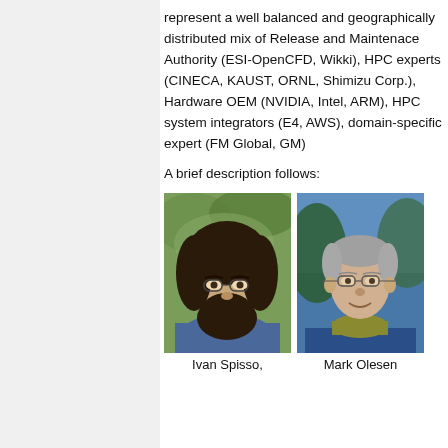represent a well balanced and geographically distributed mix of Release and Maintenace Authority (ESI-OpenCFD, Wikki), HPC experts (CINECA, KAUST, ORNL, Shimizu Corp.), Hardware OEM (NVIDIA, Intel, ARM), HPC system integrators (E4, AWS), domain-specific expert (FM Global, GM)
A brief description follows:
[Figure (photo): Portrait photo of Ivan Spisso, a man with long dark curly hair and a large dark beard, wearing glasses and a blue jacket, outdoors with foliage in background.]
Ivan Spisso,
[Figure (photo): Portrait photo of Mark Olesen, a middle-aged man with short hair wearing glasses and a blue jacket with an olive/yellow scarf, outdoors with trees in background.]
Mark Olesen